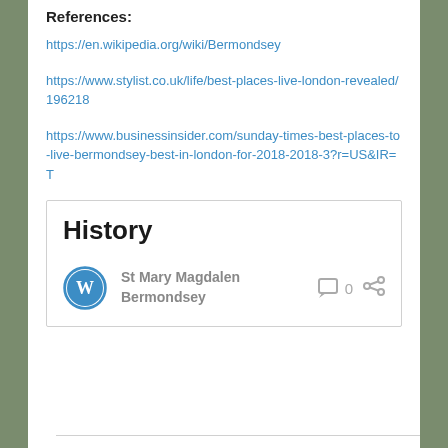References:
https://en.wikipedia.org/wiki/Bermondsey
https://www.stylist.co.uk/life/best-places-live-london-revealed/196218
https://www.businessinsider.com/sunday-times-best-places-to-live-bermondsey-best-in-london-for-2018-2018-3?r=US&IR=T
History
St Mary Magdalen Bermondsey